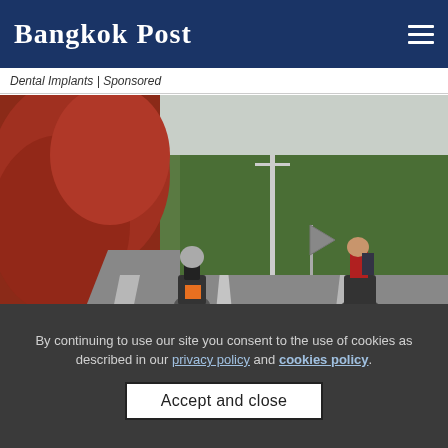Bangkok Post
Dental Implants | Sponsored
[Figure (photo): Two motorcyclists riding on a rural road with red foliage on the left side and green trees in the background, overcast sky.]
MOST POPULAR
By continuing to use our site you consent to the use of cookies as described in our privacy policy and cookies policy.
Accept and close